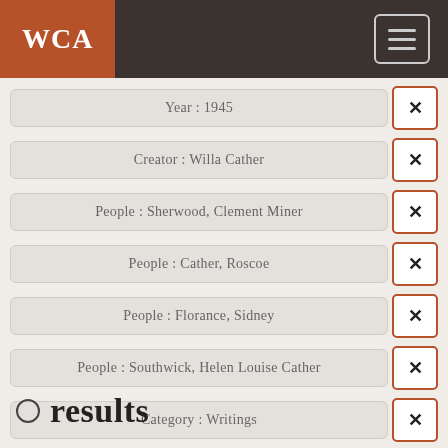WCA
Year : 1945
Creator : Willa Cather
People : Sherwood, Clement Miner
People : Cather, Roscoe
People : Florance, Sidney
People : Southwick, Helen Louise Cather
Category : Writings
0 results